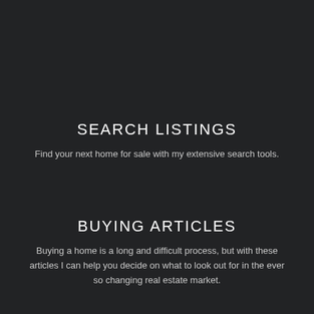SEARCH LISTINGS
Find your next home for sale with my extensive search tools.
BUYING ARTICLES
Buying a home is a long and difficult process, but with these articles I can help you decide on what to look out for in the ever so changing real estate market.